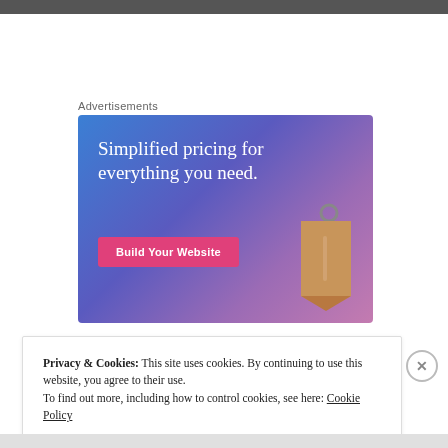[Figure (screenshot): Top strip showing partial image from web page content above]
Advertisements
[Figure (illustration): Advertisement banner with blue-to-purple gradient background. Text reads 'Simplified pricing for everything you need.' with a pink 'Build Your Website' button and a 3D price tag image on the right.]
Privacy & Cookies: This site uses cookies. By continuing to use this website, you agree to their use.
To find out more, including how to control cookies, see here: Cookie Policy
Close and accept